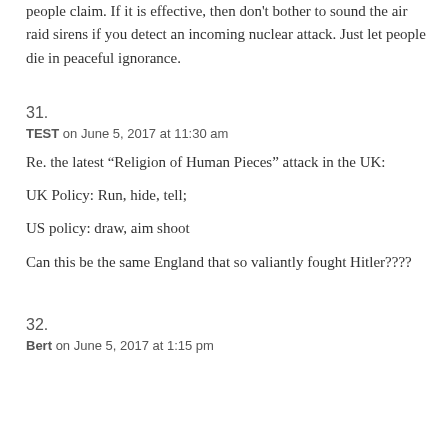people claim. If it is effective, then don't bother to sound the air raid sirens if you detect an incoming nuclear attack. Just let people die in peaceful ignorance.
31.
TEST on June 5, 2017 at 11:30 am
Re. the latest “Religion of Human Pieces” attack in the UK:
UK Policy: Run, hide, tell;
US policy: draw, aim shoot
Can this be the same England that so valiantly fought Hitler????
32.
Bert on June 5, 2017 at 1:15 pm